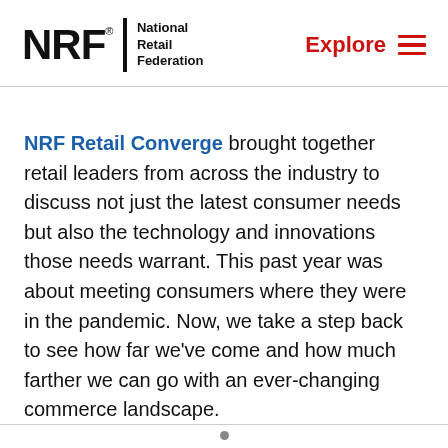NRF National Retail Federation | Explore
NRF Retail Converge brought together retail leaders from across the industry to discuss not just the latest consumer needs but also the technology and innovations those needs warrant. This past year was about meeting consumers where they were in the pandemic. Now, we take a step back to see how far we've come and how much farther we can go with an ever-changing commerce landscape.